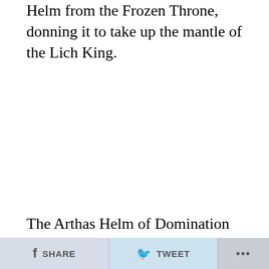Helm from the Frozen Throne, donning it to take up the mantle of the Lich King.
The Arthas Helm of Domination Blizzard Exclusive Replica will be available exclusively on the Blizzard Gear Store starting February 19 @ 3 PM PT during
SHARE   TWEET   ...